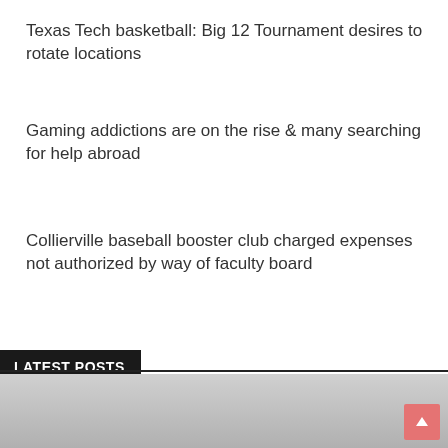Texas Tech basketball: Big 12 Tournament desires to rotate locations
Gaming addictions are on the rise & many searching for help abroad
Collierville baseball booster club charged expenses not authorized by way of faculty board
LATEST POSTS